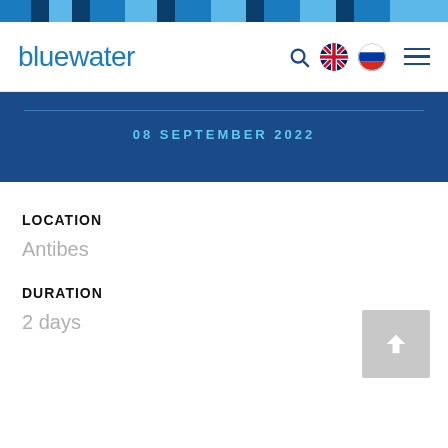bluewater
08 SEPTEMBER 2022
LOCATION
Antibes
DURATION
2 days